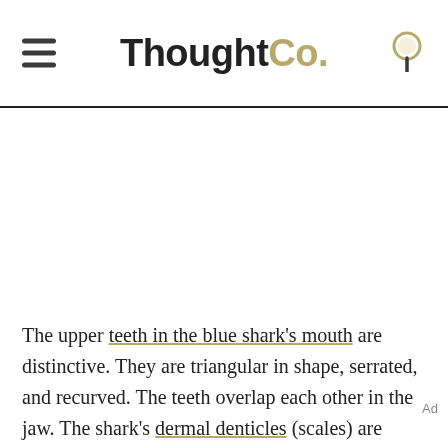ThoughtCo.
The upper teeth in the blue shark's mouth are distinctive. They are triangular in shape, serrated, and recurved. The teeth overlap each other in the jaw. The shark's dermal denticles (scales) are small and overlap, making the animal's skin